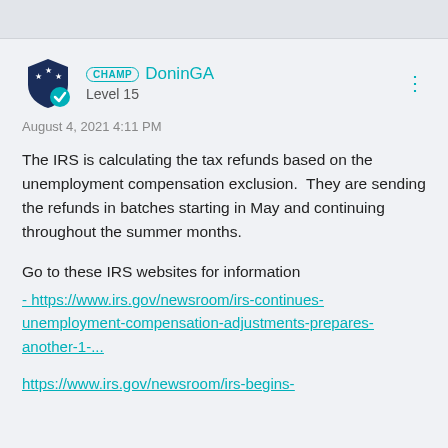CHAMP DoninGA Level 15
August 4, 2021 4:11 PM
The IRS is calculating the tax refunds based on the unemployment compensation exclusion.  They are sending the refunds in batches starting in May and continuing throughout the summer months.
Go to these IRS websites for information
- https://www.irs.gov/newsroom/irs-continues-unemployment-compensation-adjustments-prepares-another-1-...
https://www.irs.gov/newsroom/irs-begins-